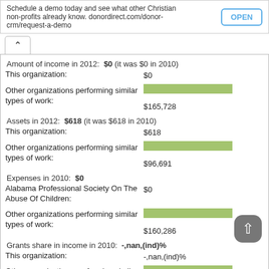Schedule a demo today and see what other Christian non-profits already know. donordirect.com/donor-crm/request-a-demo
Amount of income in 2012:  $0 (it was $0 in 2010)
This organization: $0
Other organizations performing similar types of work: $165,728
[Figure (bar-chart): Amount of income - other orgs]
Assets in 2012:  $618 (it was $618 in 2010)
This organization: $618
Other organizations performing similar types of work: $96,691
[Figure (bar-chart): Assets - other orgs]
Expenses in 2010:  $0
Alabama Professional Society On The Abuse Of Children: $0
Other organizations performing similar types of work: $160,286
[Figure (bar-chart): Expenses - other orgs]
Grants share in income in 2010:  -,nan,(ind)%
This organization: -,nan,(ind)%
Other organizations performing similar types of work: 93.8%
[Figure (bar-chart): Grants share - other orgs]
Financial snapshot ($)